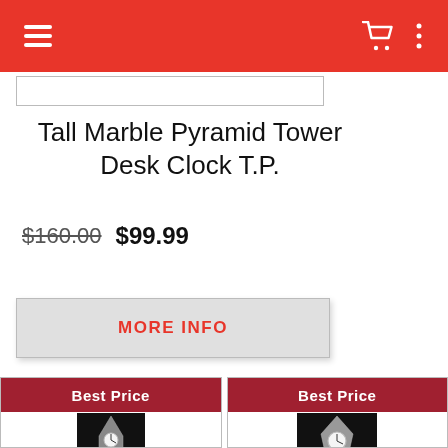Navigation header with hamburger menu, cart icon, and more options icon
Tall Marble Pyramid Tower Desk Clock T.P.
$160.00 $99.99
MORE INFO
Best Price
Best Price